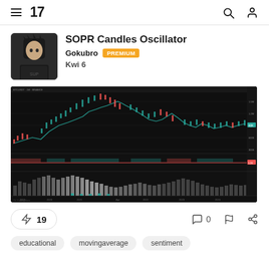TradingView navigation bar with hamburger menu, TV logo, search icon, and user icon
SOPR Candles Oscillator
Gokubro PREMIUM
Kwi 6
[Figure (screenshot): Dark-themed TradingView chart showing SOPR Candles Oscillator with candlestick chart on top panel, horizontal signal line in middle panel, and volume/histogram in bottom panel. Chart spans multiple years of Bitcoin price data with green and red candles, moving averages, and SOPR oscillator readings.]
🚀 19
💬 0
🏳 (flag icon)
⋯ (share icon)
educational
movingaverage
sentiment